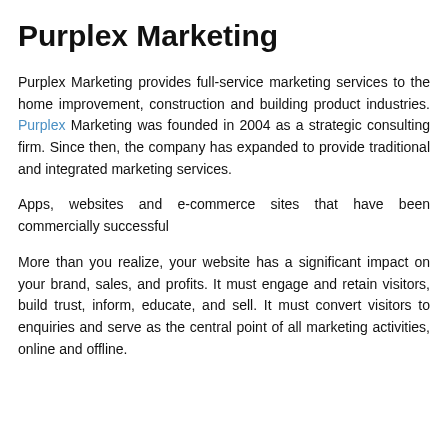Purplex Marketing
Purplex Marketing provides full-service marketing services to the home improvement, construction and building product industries. Purplex Marketing was founded in 2004 as a strategic consulting firm. Since then, the company has expanded to provide traditional and integrated marketing services.
Apps, websites and e-commerce sites that have been commercially successful
More than you realize, your website has a significant impact on your brand, sales, and profits. It must engage and retain visitors, build trust, inform, educate, and sell. It must convert visitors to enquiries and serve as the central point of all marketing activities, online and offline.